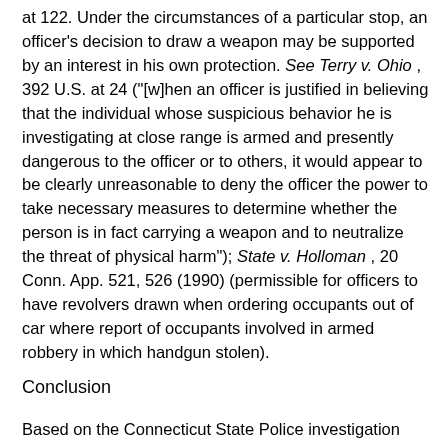at 122. Under the circumstances of a particular stop, an officer's decision to draw a weapon may be supported by an interest in his own protection. See Terry v. Ohio, 392 U.S. at 24 ("[w]hen an officer is justified in believing that the individual whose suspicious behavior he is investigating at close range is armed and presently dangerous to the officer or to others, it would appear to be clearly unreasonable to deny the officer the power to take necessary measures to determine whether the person is in fact carrying a weapon and to neutralize the threat of physical harm"); State v. Holloman, 20 Conn. App. 521, 526 (1990) (permissible for officers to have revolvers drawn when ordering occupants out of car where report of occupants involved in armed robbery in which handgun stolen).
Conclusion
Based on the Connecticut State Police investigation